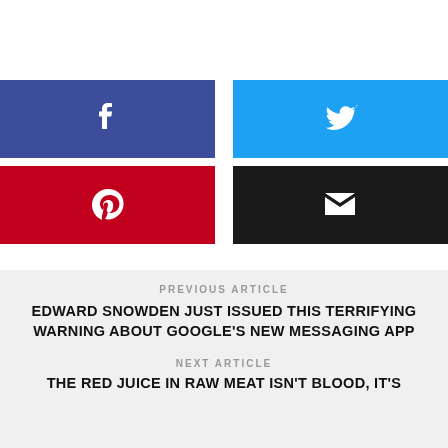[Figure (infographic): Four social sharing buttons: Facebook (dark blue), Twitter (light blue), Pinterest (red), Email (black)]
PREVIOUS ARTICLE
EDWARD SNOWDEN JUST ISSUED THIS TERRIFYING WARNING ABOUT GOOGLE'S NEW MESSAGING APP
NEXT ARTICLE
THE RED JUICE IN RAW MEAT ISN'T BLOOD, IT'S